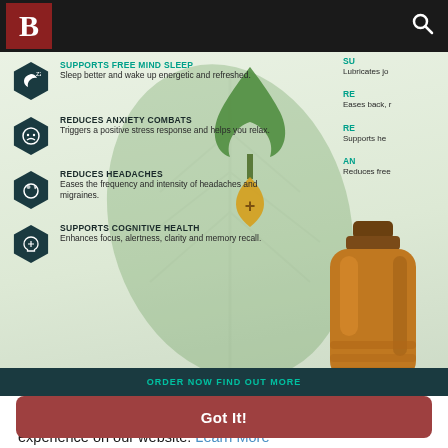[Figure (screenshot): Website navigation bar with black background, white 'B' logo in red/maroon square on left, and search icon on right]
[Figure (infographic): CBD oil infographic showing benefits: Supports free mind sleep (sleep better and wake up energetic and refreshed), Reduces Anxiety Combats (triggers a positive stress response and helps you relax), Reduces Headaches (eases the frequency and intensity of headaches and migraines), Supports Cognitive Health (enhances focus, alertness, clarity and memory recall). Right side partially shows: Lubricates joints, Reduces pain, Supports health, Anti-something (Reduces free...). Cannabis leaf and amber oil bottle illustration in center-right.]
This website uses cookies to ensure you get the best experience on our website. Learn More
Got It!